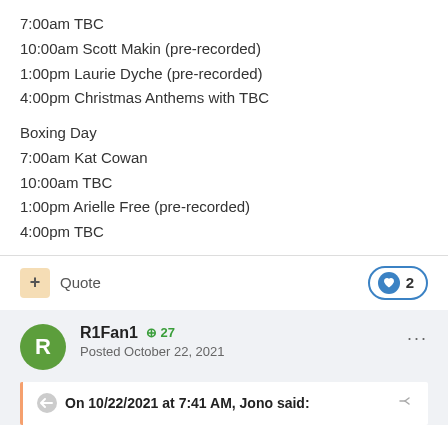7:00am TBC
10:00am Scott Makin (pre-recorded)
1:00pm Laurie Dyche (pre-recorded)
4:00pm Christmas Anthems with TBC
Boxing Day
7:00am Kat Cowan
10:00am TBC
1:00pm Arielle Free (pre-recorded)
4:00pm TBC
Quote  ♥ 2
R1Fan1 +27 Posted October 22, 2021
On 10/22/2021 at 7:41 AM, Jono said: